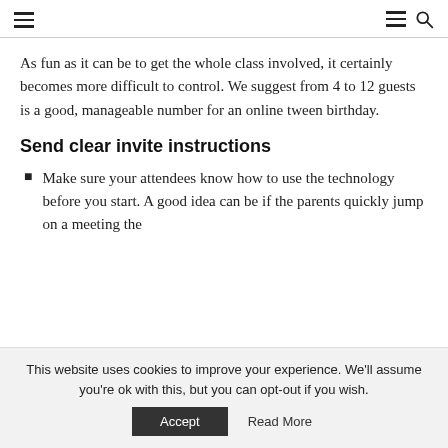Navigation bar with hamburger menus and search icon
As fun as it can be to get the whole class involved, it certainly becomes more difficult to control. We suggest from 4 to 12 guests is a good, manageable number for an online tween birthday.
Send clear invite instructions
Make sure your attendees know how to use the technology before you start. A good idea can be if the parents quickly jump on a meeting the
This website uses cookies to improve your experience. We'll assume you're ok with this, but you can opt-out if you wish.